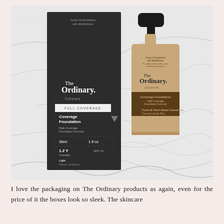[Figure (photo): A photo of The Ordinary Coverage Foundation product — a dark charcoal-colored box on the left showing brand name 'The Ordinary Colours' and product details (Coverage Foundation, High-Coverage Foundation Formula, 30ml, 1 fl oz, 1.2Y Coverage, SPF 15, Light), and a beige/tan pump bottle on the right, both placed on a white marble surface.]
I love the packaging on The Ordinary products as again, even for the price of it the boxes look so sleek. The skincare